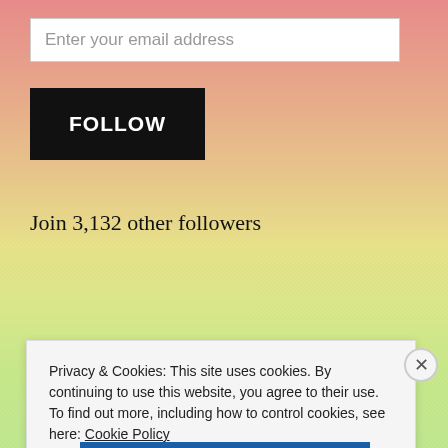Enter your email address
FOLLOW
Join 3,132 other followers
FOLLOW ME ON TWITTER My Tweets
Privacy & Cookies: This site uses cookies. By continuing to use this website, you agree to their use.
To find out more, including how to control cookies, see here: Cookie Policy
Close and accept